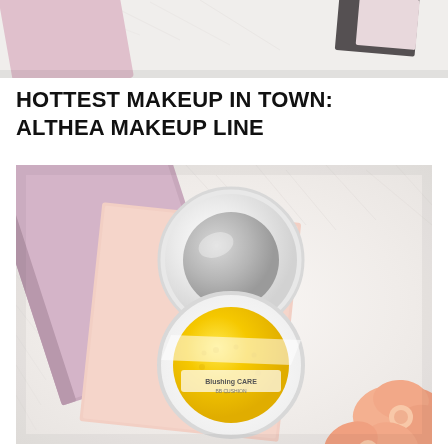[Figure (photo): Partial top photo of a pink/white makeup arrangement on a fur surface, cropped at top of page]
HOTTEST MAKEUP IN TOWN: ALTHEA MAKEUP LINE
[Figure (photo): Overhead flat-lay photo of an open Althea cushion compact with yellow sponge, placed on a pink card on a white fur background, with pink flowers at bottom right]